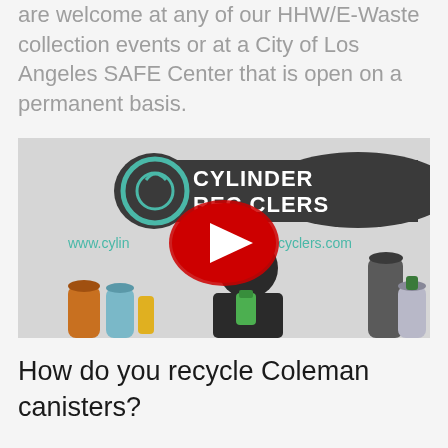are welcome at any of our HHW/E-Waste collection events or at a City of Los Angeles SAFE Center that is open on a permanent basis.
[Figure (screenshot): YouTube video thumbnail showing a man holding a green cylinder in front of a 'Cylinder Recyclers' banner with the website www.cylinderrecyclers.com. Various gas cylinders are visible in the background. A red YouTube play button is overlaid in the center.]
How do you recycle Coleman canisters?